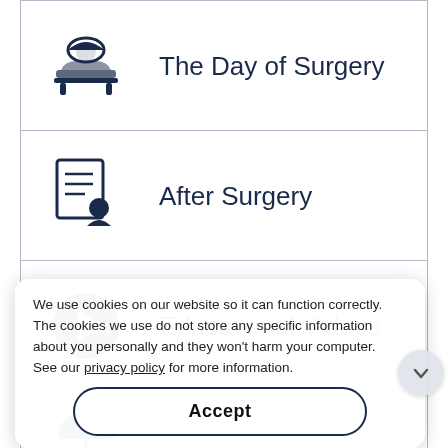The Day of Surgery
After Surgery
Educational Videos
Insurance Info
[Figure (screenshot): Our Facility banner with photo]
We use cookies on our website so it can function correctly. The cookies we use do not store any specific information about you personally and they won't harm your computer. See our privacy policy for more information.
Accept